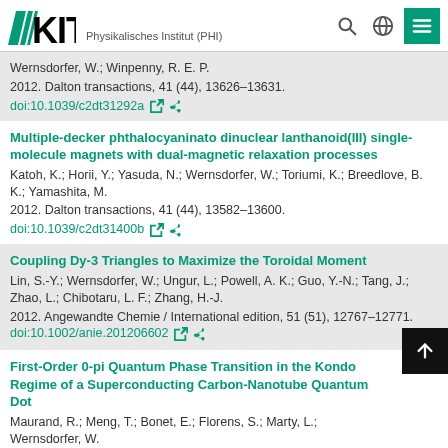KIT Physikalisches Institut (PHI)
Wernsdorfer, W.; Winpenny, R. E. P.
2012. Dalton transactions, 41 (44), 13626–13631.
doi:10.1039/c2dt31292a
Multiple-decker phthalocyaninato dinuclear lanthanoid(III) single-molecule magnets with dual-magnetic relaxation processes
Katoh, K.; Horii, Y.; Yasuda, N.; Wernsdorfer, W.; Toriumi, K.; Breedlove, B. K.; Yamashita, M.
2012. Dalton transactions, 41 (44), 13582–13600.
doi:10.1039/c2dt31400b
Coupling Dy-3 Triangles to Maximize the Toroidal Moment
Lin, S.-Y.; Wernsdorfer, W.; Ungur, L.; Powell, A. K.; Guo, Y.-N.; Tang, J.; Zhao, L.; Chibotaru, L. F.; Zhang, H.-J.
2012. Angewandte Chemie / International edition, 51 (51), 12767–12771. doi:10.1002/anie.201206602
First-Order 0-pi Quantum Phase Transition in the Kondo Regime of a Superconducting Carbon-Nanotube Quantum Dot
Maurand, R.; Meng, T.; Bonet, E.; Florens, S.; Marty, L.; Wernsdorfer, W.